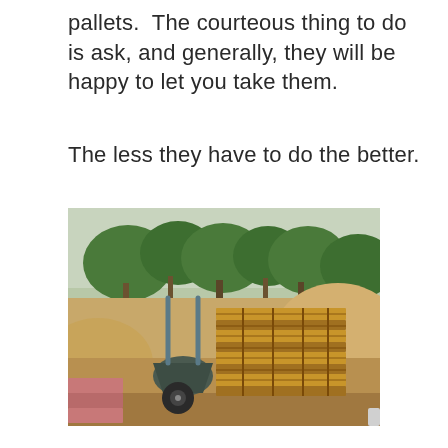pallets.  The courteous thing to do is ask, and generally, they will be happy to let you take them.
The less they have to do the better.
[Figure (photo): A construction site with a stack of wooden pallets next to a wheelbarrow, surrounded by piles of sand/dirt, with trees in the background.]